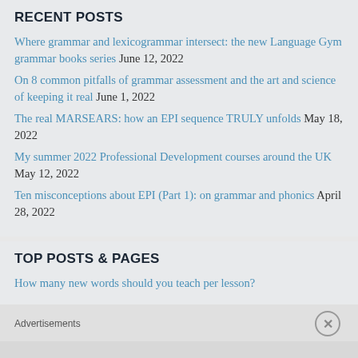RECENT POSTS
Where grammar and lexicogrammar intersect: the new Language Gym grammar books series June 12, 2022
On 8 common pitfalls of grammar assessment and the art and science of keeping it real June 1, 2022
The real MARSEARS: how an EPI sequence TRULY unfolds May 18, 2022
My summer 2022 Professional Development courses around the UK May 12, 2022
Ten misconceptions about EPI (Part 1): on grammar and phonics April 28, 2022
TOP POSTS & PAGES
How many new words should you teach per lesson?
Advertisements